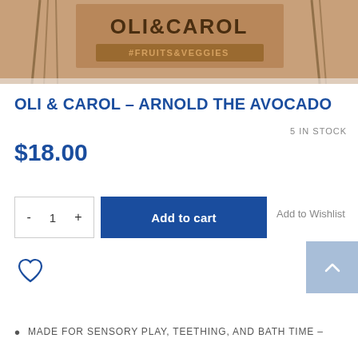[Figure (photo): Cropped product image showing Oli & Carol brand label with illustrated fruits and vegetables in warm brown tones]
OLI & CAROL – ARNOLD THE AVOCADO
5 IN STOCK
$18.00
Add to Wishlist
MADE FOR SENSORY PLAY, TEETHING, AND BATH TIME –